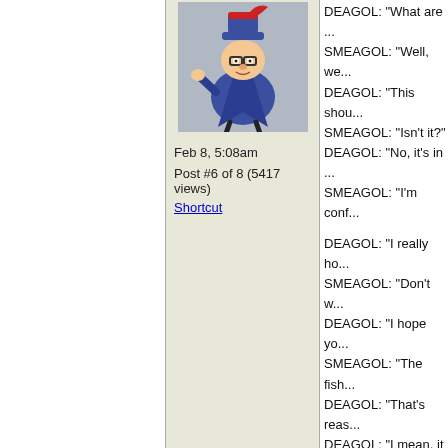[Figure (illustration): Cartoon character illustration — a sneaky villain in a blue coat and red hat, hunched over]
Feb 8, 5:08am
Post #6 of 8 (5417 views)
Shortcut
DEAGOL: "What are ..."
SMEAGOL: "Well, we..."
DEAGOL: "This shou..."
SMEAGOL: "Isn't it?"
DEAGOL: "No, it's in..."
SMEAGOL: "I'm conf..."

DEAGOL: "I really ho..."
SMEAGOL: "Don't w..."
DEAGOL: "I hope yo..."
SMEAGOL: "The fish..."
DEAGOL: "That's reas..."
DEAGOL: "I mean, it..."
SMEAGOL: "Indeed"..."
DEAGOL: "I'll just ha..."
SMEAGOL: "Yes, the ... at a time. He won't let ..."

DEAGOL: "Today is th..."
SMEAGOL: "Sorry?"
DEAGOL: "So much t..."
SMEAGOL: "Er ..."
DEAGOL: "Do you th..."
SMEAGOL: "Did you..."
DEAGOL: "No"
SMEAGOL: "Er ..."
DEAGOL: "GONDOR..."
SMEAGOL: "What?..."